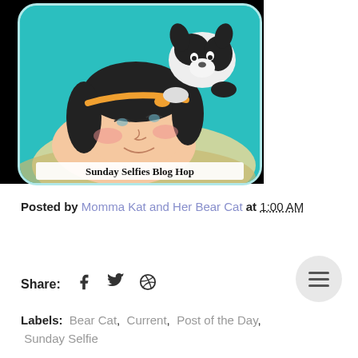[Figure (illustration): Illustrated blog badge showing a cartoon woman lying down with a black and white dog/cat on her head, on a teal background with light blue rounded rectangle border, titled 'Sunday Selfies Blog Hop']
Posted by Momma Kat and Her Bear Cat at 1:00 AM
Share:  [facebook] [twitter] [pinterest]
Labels:  Bear Cat,  Current,  Post of the Day,  Sunday Selfie